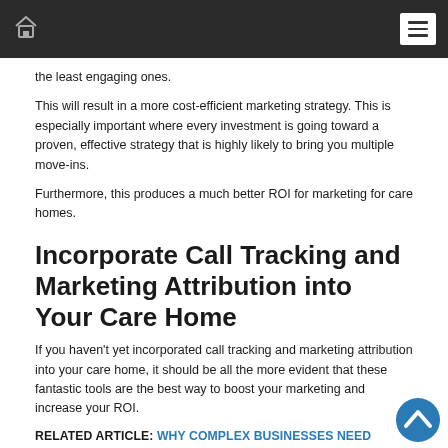[Home icon] [Menu icon]
the least engaging ones.
This will result in a more cost-efficient marketing strategy. This is especially important where every investment is going toward a proven, effective strategy that is highly likely to bring you multiple move-ins.
Furthermore, this produces a much better ROI for marketing for care homes.
Incorporate Call Tracking and Marketing Attribution into Your Care Home
If you haven't yet incorporated call tracking and marketing attribution into your care home, it should be all the more evident that these fantastic tools are the best way to boost your marketing and increase your ROI.
RELATED ARTICLE: WHY COMPLEX BUSINESSES NEED